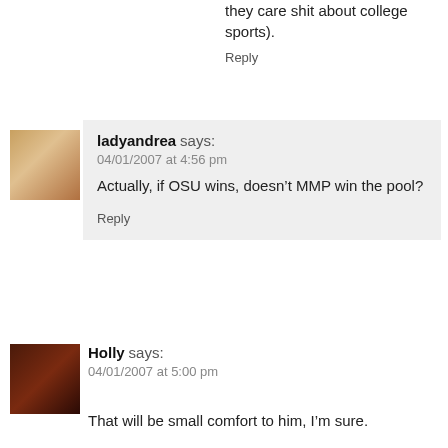they care shit about college sports).
Reply
ladyandrea says:
04/01/2007 at 4:56 pm
Actually, if OSU wins, doesn't MMP win the pool?
Reply
Holly says:
04/01/2007 at 5:00 pm
That will be small comfort to him, I'm sure.
I can't believe I got through this without offering up rack pictures to some pagan tOSU god. Yay, Basketball Jesus!
Reply
JebusHChrist says:
04/01/2007 at 5:26 pm